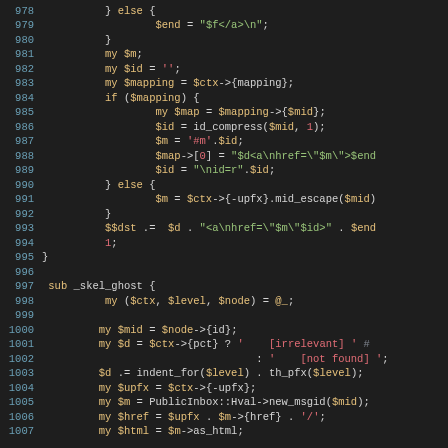Source code listing lines 978-1007, Perl code with syntax highlighting